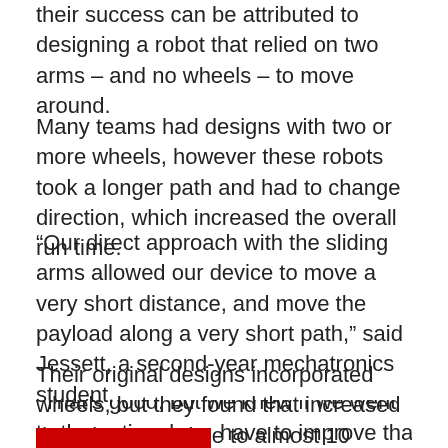their success can be attributed to designing a robot that relied on two arms – and no wheels – to move around.
Many teams had designs with two or more wheels, however these robots took a longer path and had to change direction, which increased the overall run time.
“Our direct approach with the sliding arms allowed our device to move a very short distance, and move the payload along a very short path,” said Jessett, a second-year mechatronics student.
Their original designs incorporated wheels, but they found that increased the robot’s run time to almost 10 seconds.
“That’s good, but we knew if we went to the national have to improve that time